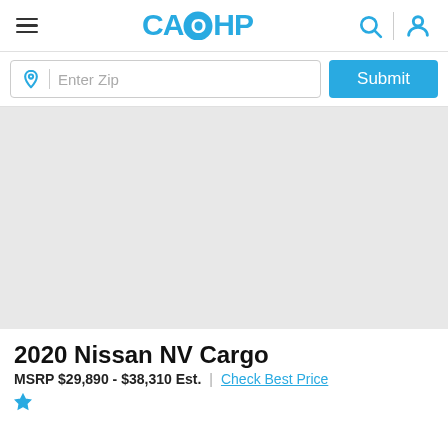CARHP
Enter Zip | Submit
[Figure (photo): Car image placeholder area (light gray background, no image loaded)]
2020 Nissan NV Cargo
MSRP $29,890 - $38,310 Est. | Check Best Price